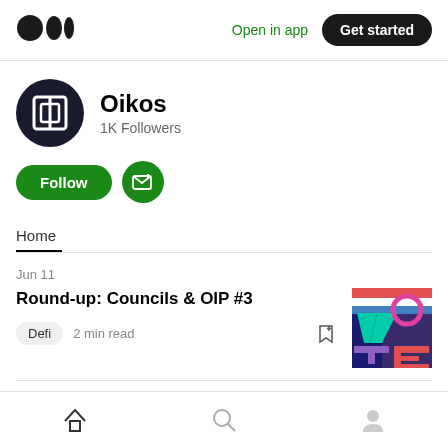Open in app  Get started
Oikos
1K Followers
Follow
Home
Jun 11
Round-up: Councils & OIP #3
Defi  2 min read
Home  Search  Profile